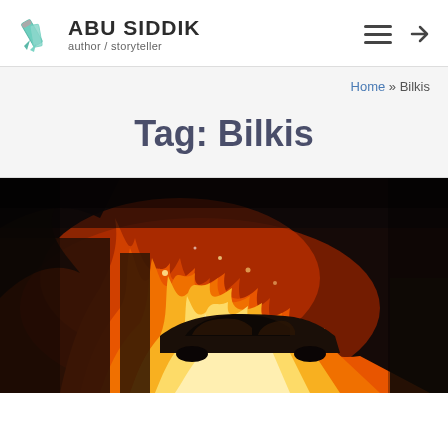ABU SIDDIK author / storyteller
Home » Bilkis
Tag: Bilkis
[Figure (photo): A dramatic nighttime photo of a car engulfed in large orange and red flames, with dark silhouettes of structures visible against the fire.]